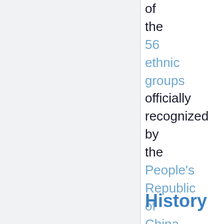of the 56 ethnic groups officially recognized by the People's Republic of China.
History